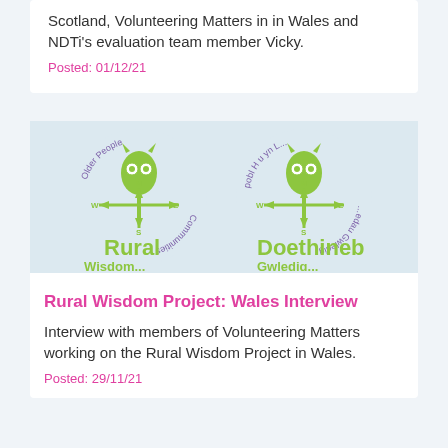Scotland, Volunteering Matters in in Wales and NDTi's evaluation team member Vicky.
Posted: 01/12/21
[Figure (logo): Rural Wisdom / Doethineb Gwledig logo with owl on weathervane, bilingual circular text reading 'Older People Communities' in English and Welsh]
Rural Wisdom Project: Wales Interview
Interview with members of Volunteering Matters working on the Rural Wisdom Project in Wales.
Posted: 29/11/21